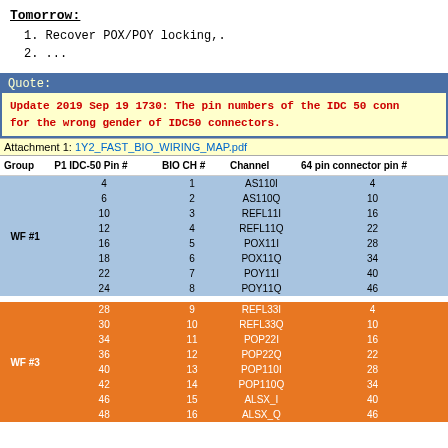Tomorrow:
1.  Recover POX/POY locking,.
2.  ...
Quote: Update 2019 Sep 19 1730: The pin numbers of the IDC 50 conn for the wrong gender of IDC50 connectors.
Attachment 1: 1Y2_FAST_BIO_WIRING_MAP.pdf
| Group | P1 IDC-50 Pin # | BIO CH # | Channel | 64 pin connector pin # |
| --- | --- | --- | --- | --- |
| WF #1 | 4 | 1 | AS110I | 4 |
|  | 6 | 2 | AS110Q | 10 |
|  | 10 | 3 | REFL11I | 16 |
|  | 12 | 4 | REFL11Q | 22 |
|  | 16 | 5 | POX11I | 28 |
|  | 18 | 6 | POX11Q | 34 |
|  | 22 | 7 | POY11I | 40 |
|  | 24 | 8 | POY11Q | 46 |
| WF #3 | 28 | 9 | REFL33I | 4 |
|  | 30 | 10 | REFL33Q | 10 |
|  | 34 | 11 | POP22I | 16 |
|  | 36 | 12 | POP22Q | 22 |
|  | 40 | 13 | POP110I | 28 |
|  | 42 | 14 | POP110Q | 34 |
|  | 46 | 15 | ALSX_I | 40 |
|  | 48 | 16 | ALSX_Q | 46 |